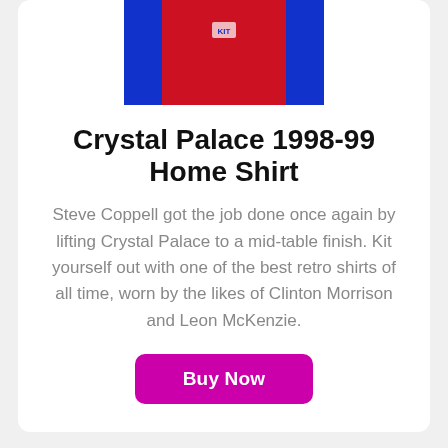[Figure (photo): Crystal Palace 1998-99 Home Shirt — red and blue striped football shirt partially visible at top of card]
Crystal Palace 1998-99 Home Shirt
Steve Coppell got the job done once again by lifting Crystal Palace to a mid-table finish. Kit yourself out with one of the best retro shirts of all time, worn by the likes of Clinton Morrison and Leon McKenzie.
Buy Now
Crystal Palace 1994-96 Away Shirt
If you loved their home shirt from the late 90s above,